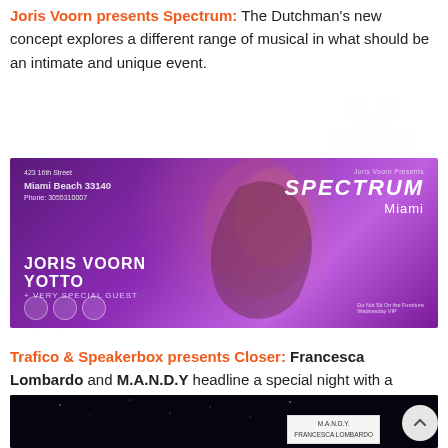Joris Voorn presents Spectrum: The Dutchman's new concept explores a different range of musical in what should be an intimate and unique event.
[Figure (photo): Promotional banner for Joris Voorn presents Spectrum Miami. Purple background with a face profile silhouette. Text shows address 423 16th Street Miami Beach 33140, artists JORIS VOORN, YOTTO + VERY SPECIAL GUEST, and the Spectrum Miami logo on the right.]
Trafico & Speakerbox presents Closer: Francesca Lombardo and M.A.N.D.Y headline a special night with a renowned group of artists including Moscomann, Concret and the whole Speakerbox crew.
[Figure (photo): Promotional banner for Closer event. Black background with white text CLOSER in large italic letters. Side card shows M.A.N.D.Y. and FRANCESCA LOMBARDO text.]